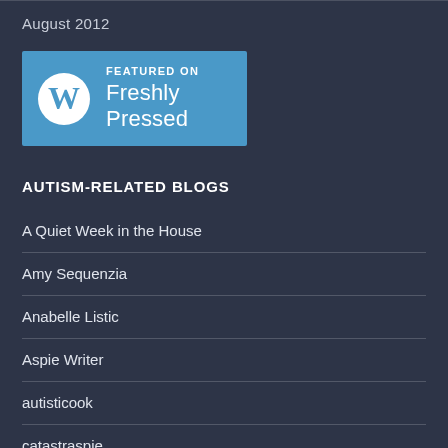August 2012
[Figure (logo): WordPress 'Featured on Freshly Pressed' badge with WordPress logo on blue background]
AUTISM-RELATED BLOGS
A Quiet Week in the House
Amy Sequenzia
Anabelle Listic
Aspie Writer
autisticook
catastraspie